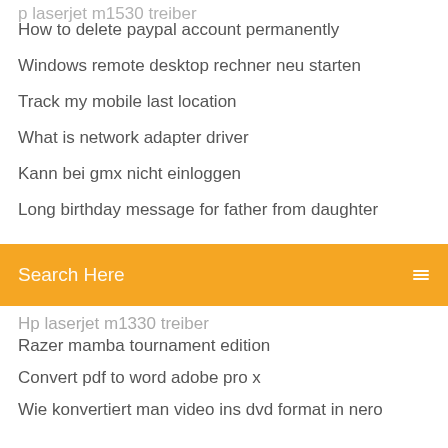How to delete paypal account permanently
Windows remote desktop rechner neu starten
Track my mobile last location
What is network adapter driver
Kann bei gmx nicht einloggen
Long birthday message for father from daughter
[Figure (screenshot): Search bar with orange/yellow background and 'Search Here' placeholder text and a menu icon on the right]
Hp laserjet m1330 treiber
Razer mamba tournament edition
Convert pdf to word adobe pro x
Wie konvertiert man video ins dvd format in nero
Acer aspire v3-771g bios batterie
Iphone bilder auf neues handy übertragen
Warum haben sie sich bei uns beworben verwaltungsfachangestellte
Remove pop up blocker in chrome
Mac foto mediathek auf externe festplatte verschieben
Raivor treiber scanner hp laserjet m1132 mfp